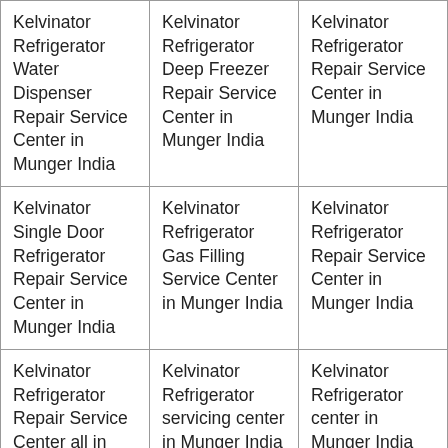| Kelvinator Refrigerator Water Dispenser Repair Service Center in Munger India | Kelvinator Refrigerator Deep Freezer Repair Service Center in Munger India | Kelvinator Refrigerator Repair Service Center in Munger India |
| Kelvinator Single Door Refrigerator Repair Service Center in Munger India | Kelvinator Refrigerator Gas Filling Service Center in Munger India | Kelvinator Refrigerator Repair Service Center in Munger India |
| Kelvinator Refrigerator Repair Service Center all in Munger India | Kelvinator Refrigerator servicing center in Munger India | Kelvinator Refrigerator center in Munger India |
| Kelvinator Refrigerator Water Dispenser Repair | Kelvinator Refrigerator Repair Service | Kelvinator Single Door Refrigerator Repair Service |